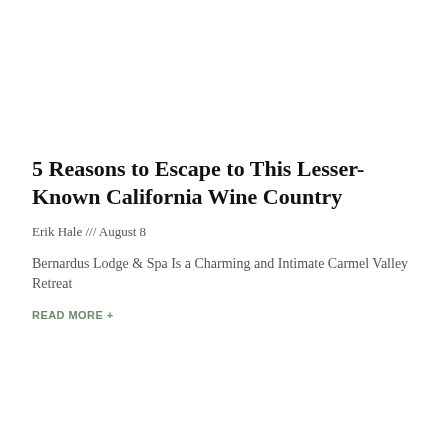5 Reasons to Escape to This Lesser-Known California Wine Country
Erik Hale /// August 8
Bernardus Lodge & Spa Is a Charming and Intimate Carmel Valley Retreat
READ MORE +